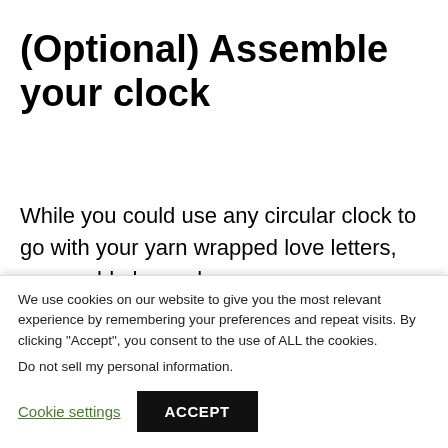(Optional) Assemble your clock
While you could use any circular clock to go with your yarn wrapped love letters, you could also make your own.
We use cookies on our website to give you the most relevant experience by remembering your preferences and repeat visits. By clicking “Accept”, you consent to the use of ALL the cookies.
Do not sell my personal information.
Cookie settings
ACCEPT